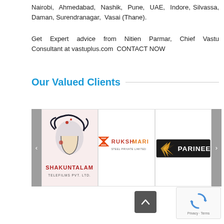Nairobi, Ahmedabad, Nashik, Pune, UAE, Indore, Silvassa, Daman, Surendranagar, Vasai (Thane).
Get Expert advice from Nitien Parmar, Chief Vastu Consultant at vastuplus.com  CONTACT NOW
Our Valued Clients
[Figure (logo): Shakuntalam Telefilms Pvt. Ltd. logo with stylized face graphic]
[Figure (logo): Rukshmari (Steel / Private Limited) logo in red and orange]
[Figure (logo): Parinee logo on dark background with orange-yellow star-burst graphic]